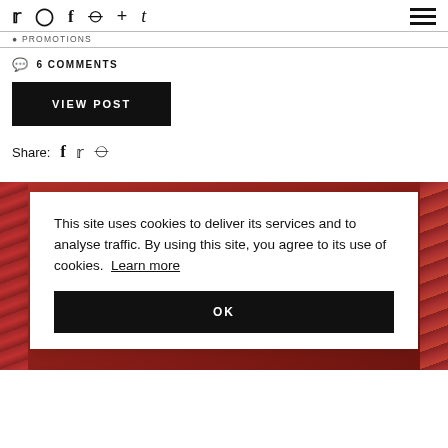Social icons nav bar with twitter, instagram, facebook, pinterest, plus, tumblr icons and hamburger menu
● PROMOTIONS
● 6 COMMENTS
VIEW POST
Share: (facebook) (twitter) (pinterest)
[Figure (screenshot): Cookie consent overlay on top of a background image of red autumn leaves and red knitted fabric. Overlay text: 'This site uses cookies to deliver its services and to analyse traffic. By using this site, you agree to its use of cookies. Learn more' with an OK button.]